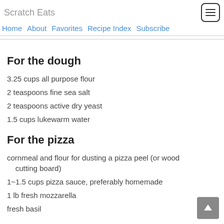Scratch Eats
Home  About  Favorites  Recipe Index  Subscribe
For the dough
3.25 cups all purpose flour
2 teaspoons fine sea salt
2 teaspoons active dry yeast
1.5 cups lukewarm water
For the pizza
cornmeal and flour for dusting a pizza peel (or wood cutting board)
1~1.5 cups pizza sauce, preferably homemade
1 lb fresh mozzarella
fresh basil